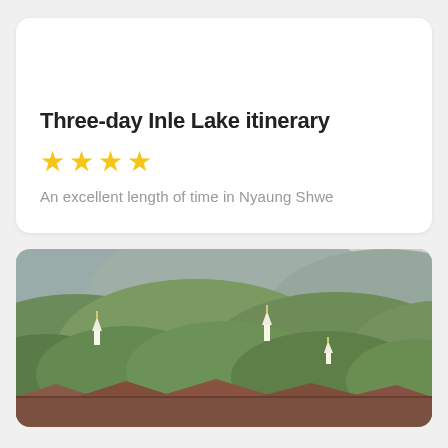Three-day Inle Lake itinerary
★★★★
An excellent length of time in Nyaung Shwe
[Figure (photo): Landscape photo showing green forested hills with small white Buddhist pagodas/stupas visible among the trees, rooftops in the foreground, and hazy mountains in the background.]